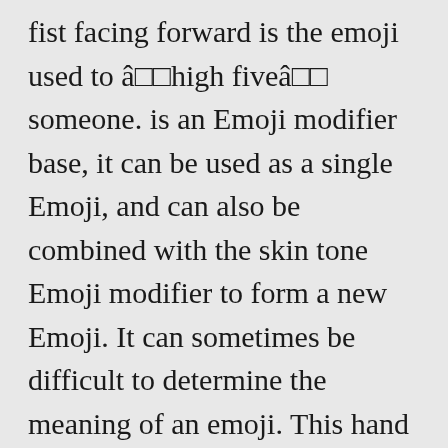fist facing forward is the emoji used to â□□high fiveâ□□ someone. is an Emoji modifier base, it can be used as a single Emoji, and can also be combined with the skin tone Emoji modifier to form a new Emoji. It can sometimes be difficult to determine the meaning of an emoji. This hand gesture has its origin in a Jewish blessing. Emoji Meaning A hand held up showing its palm. Additional descriptions are copyright © Emojipedia. Pie Chart 111, 112. May be used to mean stop, or as a high-five. Many people equate the folded hands emoji with either prayer or a high-five, depending on the precise image being used. Depicted as a green sprig, as of basil, sage, or oregano, generally with fiveâ' â□□□ Maple